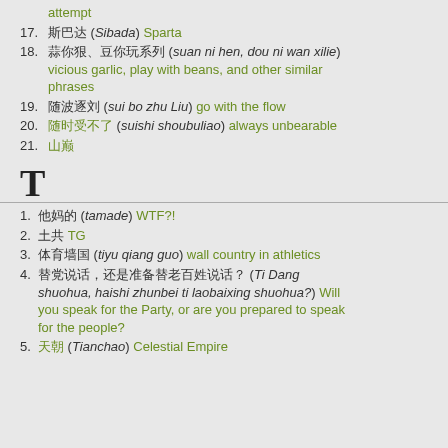attempt
17. 斯巴达 (Sibada) Sparta
18. 蒜你狠、豆你玩系列 (suan ni hen, dou ni wan xilie) vicious garlic, play with beans, and other similar phrases
19. 随波逐刘 (sui bo zhu Liu) go with the flow
20. 随时受不了 (suishi shoubuliao) always unbearable
21. 山巅
T
1. 他妈的 (tamade) WTF?!
2. 土共 TG
3. 体育墙国 (tiyu qiang guo) wall country in athletics
4. 替党说话，还是准备替老百姓说话？(Ti Dang shuohua, haishi zhunbei ti laobaixing shuohua?) Will you speak for the Party, or are you prepared to speak for the people?
5. 天朝 (Tianchao) Celestial Empire